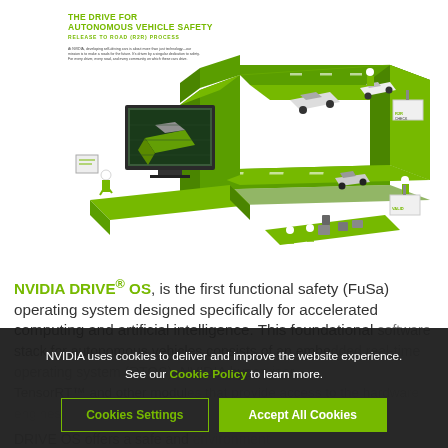[Figure (infographic): NVIDIA autonomous vehicle safety infographic showing 'THE DRIVE FOR AUTONOMOUS VEHICLE SAFETY - RELEASE TO ROAD (R2R) PROCESS' with isometric illustrations of AV testing stages including simulation (large screen), road testing with cars, and validation checkpoints along a green road/track path. Small text body explains NVIDIA's mission developing self-driving cars.]
NVIDIA DRIVE® OS, is the first functional safety (FuSa) operating system designed specifically for accelerated computing and artificial intelligence. This foundational software stack for autonomous vehicles consists of an embedded real-time operating system (RTOS), NVIDIA hypervisor, TensorRT™ and other modules that provide access to the hardware engines. DRIVE OS offers a safe and... environment
NVIDIA uses cookies to deliver and improve the website experience. See our Cookie Policy to learn more.
Cookies Settings | Accept All Cookies